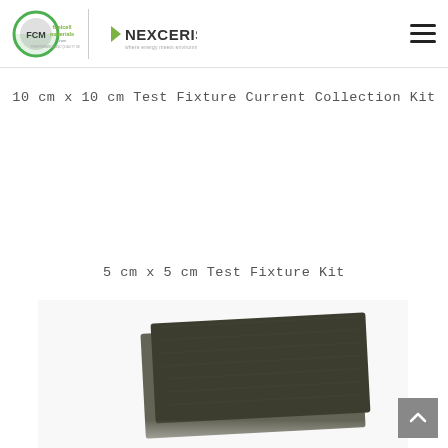fuelcellmaterials.com / NEXCERIS — site header with navigation
10 cm x 10 cm Test Fixture Current Collection Kit
5 cm x 5 cm Test Fixture Kit
[Figure (photo): Two dark grey/black rectangular carbon paper or GDL material sheets stacked slightly offset on a white background, part of a 5 cm x 5 cm Test Fixture Kit product listing]